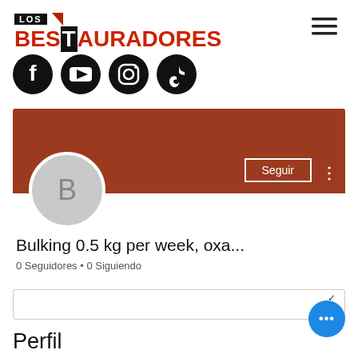[Figure (logo): Los Bestauradores logo — 'LOS' in white on black rectangle, 'BESTAURADORES' in red bold text with 'T' highlighted in white on black background]
[Figure (infographic): Hamburger menu icon (three horizontal lines) in top right]
[Figure (infographic): Four social media icons in a row: Facebook, YouTube, Instagram, TikTok — all black circles with white icons]
[Figure (screenshot): Profile banner area: dark red/brown rectangle with Seguir (Follow) button outlined in white and three-dot menu icon. Below banner: circular grey avatar with letter B, profile name 'Bulking 0.5 kg per week, oxa...', follower stats '0 Seguidores • 0 Siguiendo', empty search/input box, blue chat bubble with three dots, and 'Perfil' section header]
Bulking 0.5 kg per week, oxa...
0 Seguidores • 0 Siguiendo
Perfil